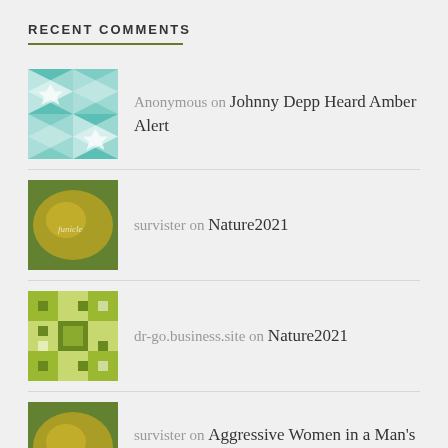RECENT COMMENTS
Anonymous on Johnny Depp Heard Amber Alert
survister on Nature2021
dr-go.business.site on Nature2021
survister on Aggressive Women in a Man's Li…
graliontorile on Aggressive Women in a Man's Li…